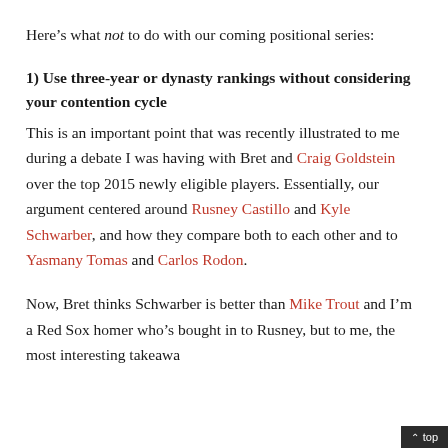Here’s what not to do with our coming positional series:
1) Use three-year or dynasty rankings without considering your contention cycle
This is an important point that was recently illustrated to me during a debate I was having with Bret and Craig Goldstein over the top 2015 newly eligible players. Essentially, our argument centered around Rusney Castillo and Kyle Schwarber, and how they compare both to each other and to Yasmany Tomas and Carlos Rodon.
Now, Bret thinks Schwarber is better than Mike Trout and I’m a Red Sox homer who’s bought in to Rusney, but to me, the most interesting takeawa…